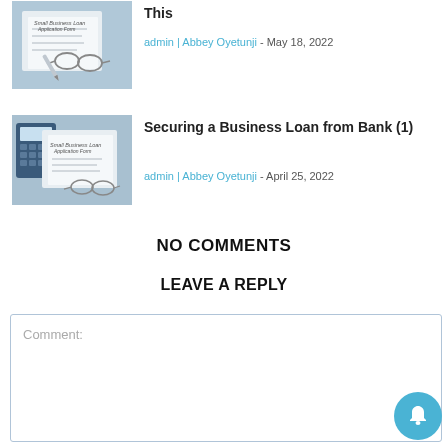[Figure (photo): Small Business Loan Application Form with glasses and pen on paper]
This
admin | Abbey Oyetunji - May 18, 2022
[Figure (photo): Small Business Loan Application Form with glasses and calculator]
Securing a Business Loan from Bank (1)
admin | Abbey Oyetunji - April 25, 2022
NO COMMENTS
LEAVE A REPLY
Comment: